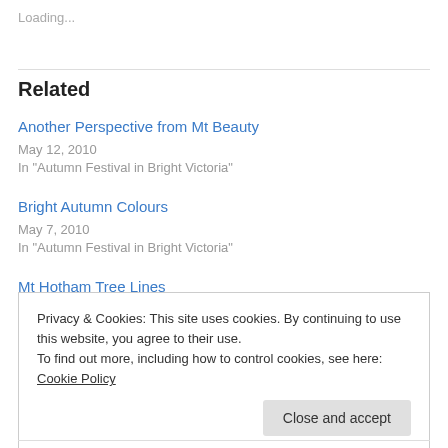Loading...
Related
Another Perspective from Mt Beauty
May 12, 2010
In "Autumn Festival in Bright Victoria"
Bright Autumn Colours
May 7, 2010
In "Autumn Festival in Bright Victoria"
Mt Hotham Tree Lines
Privacy & Cookies: This site uses cookies. By continuing to use this website, you agree to their use.
To find out more, including how to control cookies, see here: Cookie Policy
Close and accept